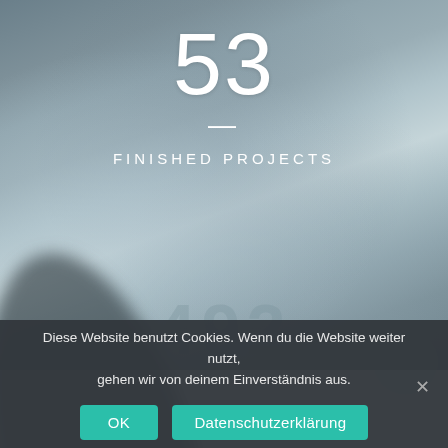[Figure (photo): Blurred background photo of a person walking, with blue-grey tones. Website screenshot showing a statistic counter widget with the number 53 and label 'FINISHED PROJECTS' overlaid on the blurred photo background.]
53
FINISHED PROJECTS
Diese Website benutzt Cookies. Wenn du die Website weiter nutzt, gehen wir von deinem Einverständnis aus.
OK
Datenschutzerklärung